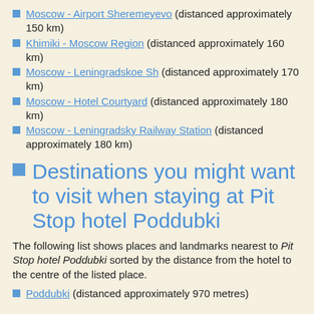Moscow - Airport Sheremeyevo (distanced approximately 150 km)
Khimiki - Moscow Region (distanced approximately 160 km)
Moscow - Leningradskoe Sh (distanced approximately 170 km)
Moscow - Hotel Courtyard (distanced approximately 180 km)
Moscow - Leningradsky Railway Station (distanced approximately 180 km)
Destinations you might want to visit when staying at Pit Stop hotel Poddubki
The following list shows places and landmarks nearest to Pit Stop hotel Poddubki sorted by the distance from the hotel to the centre of the listed place.
Poddubki (distanced approximately 970 metres)